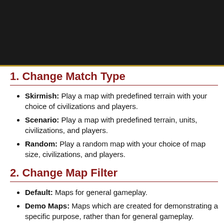[Figure (photo): Dark textured banner image with a gold/amber horizontal line near the bottom]
1. Change Match Type
Skirmish: Play a map with predefined terrain with your choice of civilizations and players.
Scenario: Play a map with predefined terrain, units, civilizations, and players.
Random: Play a random map with your choice of map size, civilizations, and players.
2. Change Map Filter
Default: Maps for general gameplay.
Demo Maps: Maps which are created for demonstrating a specific purpose, rather than for general gameplay.